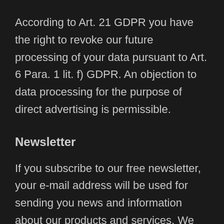According to Art. 21 GDPR you have the right to revoke our future processing of your data pursuant to Art. 6 Para. 1 lit. f) GDPR. An objection to data processing for the purpose of direct advertising is permissible.
Newsletter
If you subscribe to our free newsletter, your e-mail address will be used for sending you news and information about our products and services. We will store your IP address and the date and time of your subscription. During the subscription process, we will